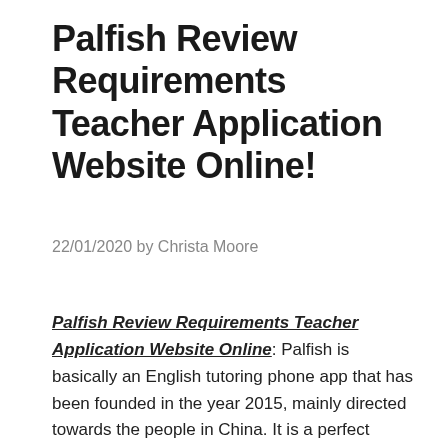Palfish Review Requirements Teacher Application Website Online!
22/01/2020 by Christa Moore
Palfish Review Requirements Teacher Application Website Online: Palfish is basically an English tutoring phone app that has been founded in the year 2015, mainly directed towards the people in China. It is a perfect educational platform that connects ESL teachers to all those who really want to learn English in their free time, or just have chit-chats with the English speakers.